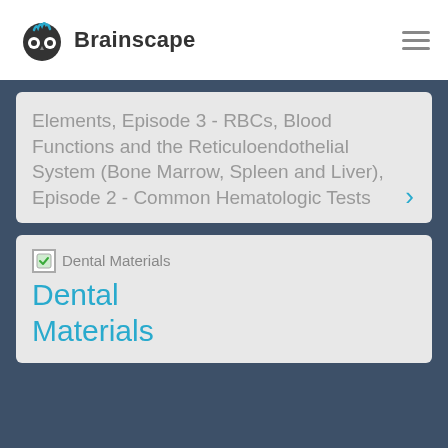Brainscape
Elements, Episode 3 - RBCs, Blood Functions and the Reticuloendothelial System (Bone Marrow, Spleen and Liver), Episode 2 - Common Hematologic Tests
Dental Materials
Dental Materials